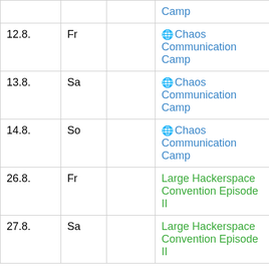| Date | Day |  | Event | Description |
| --- | --- | --- | --- | --- |
|  |  |  | Camp |  |
| 12.8. | Fr |  | 🌐 Chaos Communication Camp | Hacken im Finofurt |
| 13.8. | Sa |  | 🌐 Chaos Communication Camp | Hacken im Finofurt |
| 14.8. | So |  | 🌐 Chaos Communication Camp | Hacken im Finofurt |
| 26.8. | Fr |  | Large Hackerspace Convention Episode II | socializing technicizing |
| 27.8. | Sa |  | Large Hackerspace Convention Episode II | socializing technicizing |